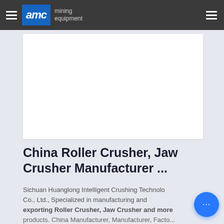AMC mining equipment
[Figure (other): White content card / image placeholder area on light blue-grey background]
China Roller Crusher, Jaw Crusher Manufacturer ...
Sichuan Huanglong Intelligent Crushing Technology Co., Ltd., Specialized in manufacturing and exporting Roller Crusher, Jaw Crusher and more products. China Manufacturer, Manufacturer, Factory ...